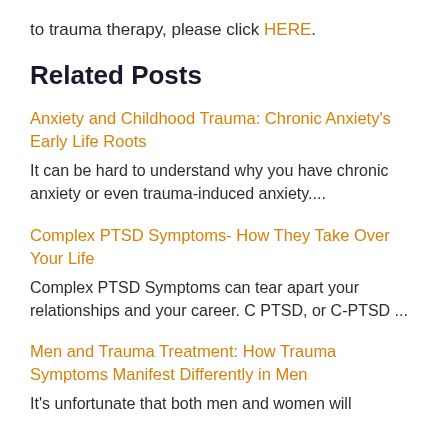to trauma therapy, please click HERE.
Related Posts
Anxiety and Childhood Trauma: Chronic Anxiety's Early Life Roots
It can be hard to understand why you have chronic anxiety or even trauma-induced anxiety....
Complex PTSD Symptoms- How They Take Over Your Life
Complex PTSD Symptoms can tear apart your relationships and your career. C PTSD, or C-PTSD ...
Men and Trauma Treatment: How Trauma Symptoms Manifest Differently in Men
It's unfortunate that both men and women will